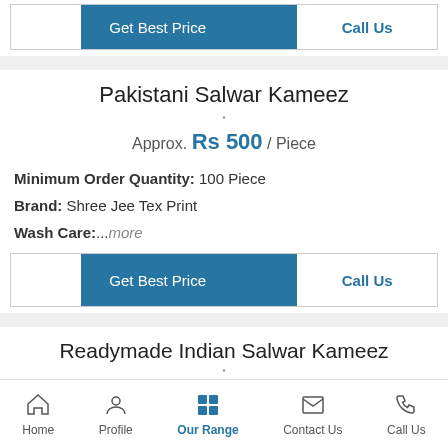[Figure (screenshot): Two action buttons: Get Best Price (blue) and Call Us (white/blue outline) at top]
Pakistani Salwar Kameez
Approx. Rs 500 / Piece
Minimum Order Quantity: 100 Piece
Brand: Shree Jee Tex Print
Wash Care:...more
[Figure (screenshot): Two action buttons: Get Best Price (blue) and Call Us (white/blue outline)]
Readymade Indian Salwar Kameez
Approx. .../ Piece
Home | Profile | Our Range | Contact Us | Call Us